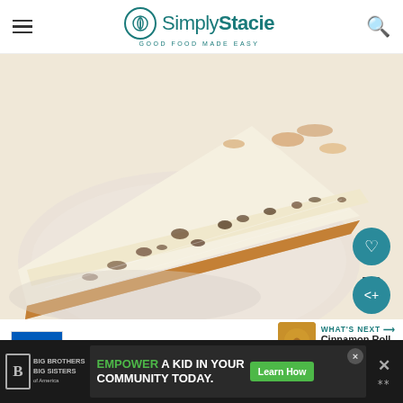Simply Stacie — GOOD FOOD MADE EASY
[Figure (photo): A slice of cheesecake with chocolate chip/raisin filling on a white plate, close-up food photography]
590
WHAT'S NEXT → Cinnamon Roll Cookies
[Figure (photo): Small thumbnail of cinnamon roll cookies]
[Figure (illustration): Ukrainian flag (blue and yellow)]
We Stand With You
EMPOWER A KID IN YOUR COMMUNITY TODAY.
Learn How
Big Brothers Big Sisters of America